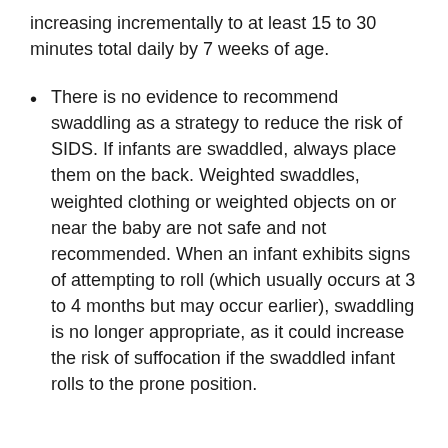increasing incrementally to at least 15 to 30 minutes total daily by 7 weeks of age.
There is no evidence to recommend swaddling as a strategy to reduce the risk of SIDS. If infants are swaddled, always place them on the back. Weighted swaddles, weighted clothing or weighted objects on or near the baby are not safe and not recommended. When an infant exhibits signs of attempting to roll (which usually occurs at 3 to 4 months but may occur earlier), swaddling is no longer appropriate, as it could increase the risk of suffocation if the swaddled infant rolls to the prone position.